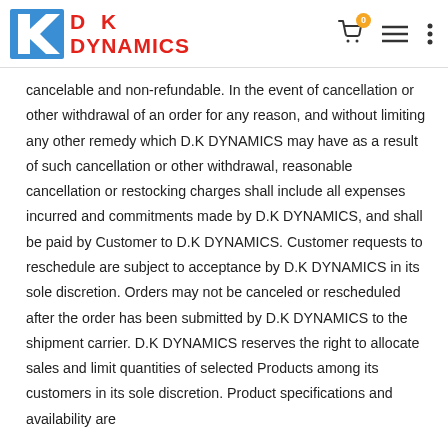D K DYNAMICS
cancelable and non-refundable. In the event of cancellation or other withdrawal of an order for any reason, and without limiting any other remedy which D.K DYNAMICS may have as a result of such cancellation or other withdrawal, reasonable cancellation or restocking charges shall include all expenses incurred and commitments made by D.K DYNAMICS, and shall be paid by Customer to D.K DYNAMICS. Customer requests to reschedule are subject to acceptance by D.K DYNAMICS in its sole discretion. Orders may not be canceled or rescheduled after the order has been submitted by D.K DYNAMICS to the shipment carrier. D.K DYNAMICS reserves the right to allocate sales and limit quantities of selected Products among its customers in its sole discretion. Product specifications and availability are